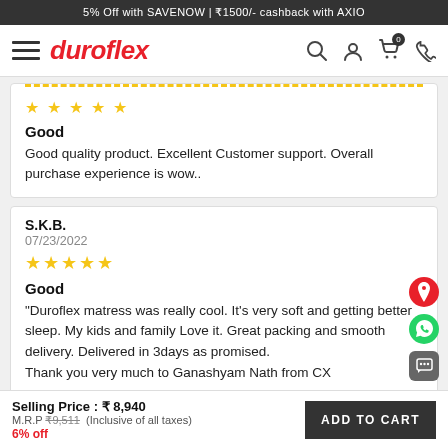5% Off with SAVENOW | ₹1500/- cashback with AXIO
[Figure (logo): Duroflex logo with hamburger menu and navigation icons]
Good
Good quality product. Excellent Customer support. Overall purchase experience is wow..
S.K.B.
07/23/2022
★★★★★
Good
"Duroflex matress was really cool. It's very soft and getting better sleep. My kids and family Love it. Great packing and smooth delivery. Delivered in 3days as promised.
Thank you very much to Ganashyam Nath from CX
Selling Price : ₹ 8,940
M.R.P ₹9,511 (Inclusive of all taxes)
6% off
ADD TO CART